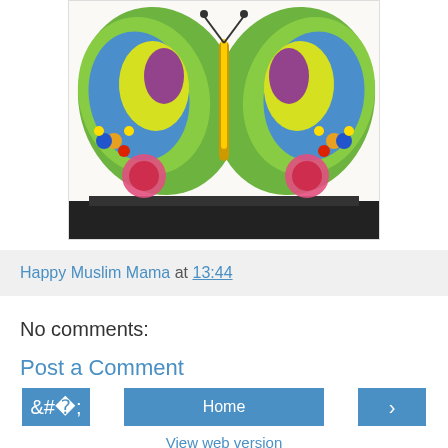[Figure (photo): Photograph of an open children's book showing a colorful butterfly illustration with green, blue, yellow, and purple wings on white pages, placed on a dark surface.]
Happy Muslim Mama at 13:44
No comments:
Post a Comment
‹
Home
›
View web version
Powered by Blogger.